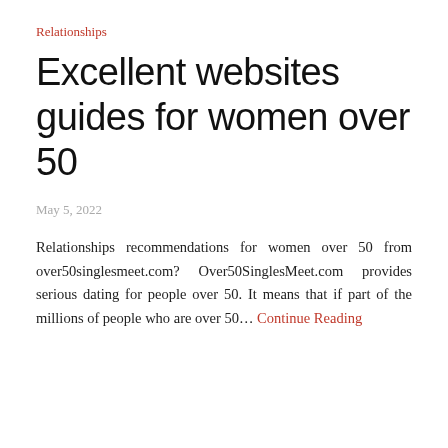Relationships
Excellent websites guides for women over 50
May 5, 2022
Relationships recommendations for women over 50 from over50singlesmeet.com? Over50SinglesMeet.com provides serious dating for people over 50. It means that if part of the millions of people who are over 50...
Continue Reading